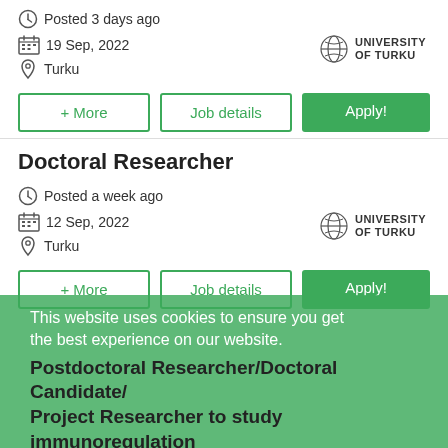Posted 3 days ago
19 Sep, 2022
Turku
+ More | Job details | Apply!
Doctoral Researcher
Posted a week ago
12 Sep, 2022
Turku
+ More | Job details | Apply!
This website uses cookies to ensure you get the best experience on our website.
Learn more
Postdoctoral Researcher/Doctoral Candidate/Project Researcher to study immunoregulation at Lahesmaa lab
Got it!
Posted a week ago
15 Sep, 2022
Turku